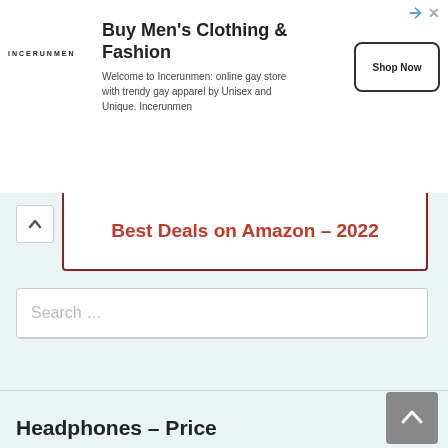[Figure (screenshot): Advertisement banner for Incerunmen: Buy Men's Clothing & Fashion with Shop Now button]
Best Deals on Amazon – 2022
Search …
Headphones – Price